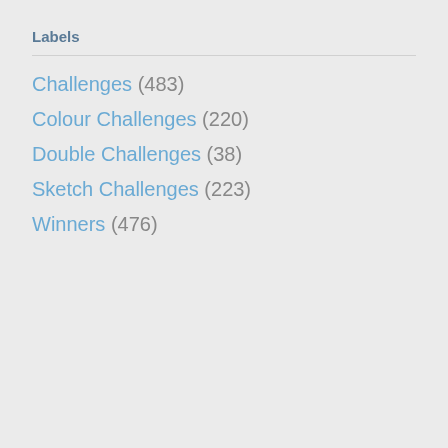Labels
Challenges (483)
Colour Challenges (220)
Double Challenges (38)
Sketch Challenges (223)
Winners (476)